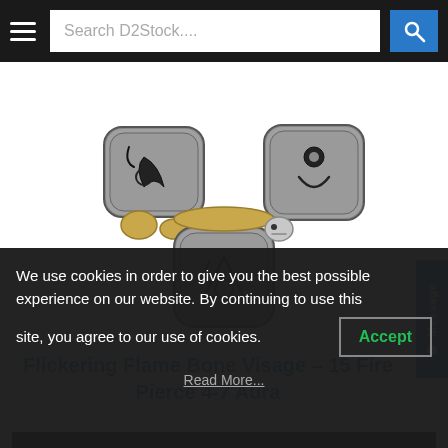Search D2Stock....
[Figure (photo): A game item image showing a Bone Visage helmet from Diablo 2, depicted as a stone-textured item with rune-like engravings on three stone tablets forming a helmet shape.]
Flickering Flame Bone Visage – 15 Fire Pierce 4-7 Aura
FLICKERING FLAME
We use cookies in order to give you the best possible experience on our website. By continuing to use this site, you agree to our use of cookies.
Accept
Read More...